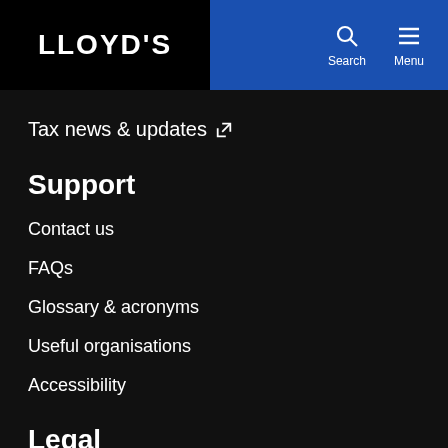LLOYD'S — Search Menu
Tax news & updates ↗
Support
Contact us
FAQs
Glossary & acronyms
Useful organisations
Accessibility
Legal